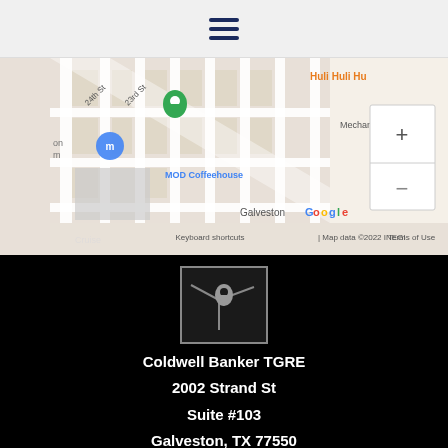Navigation menu (hamburger icon)
[Figure (map): Google Maps screenshot showing Galveston area with street grid, including 24th St, 23rd St, Mechanic St, MOD Coffeehouse, Huli Huli Hu restaurant, map pin markers, zoom controls (+/-), and attribution: Keyboard shortcuts | Map data ©2022 INEGI | Terms of Use]
[Figure (logo): Map/location icon in a square border on black background]
Coldwell Banker TGRE
2002 Strand St
Suite #103
Galveston, TX 77550
[Figure (logo): Partial icon in a square border on black background (bottom, partially visible)]